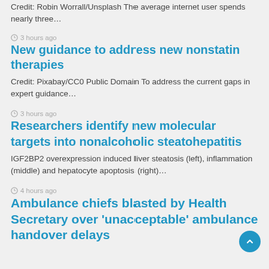Credit: Robin Worrall/Unsplash The average internet user spends nearly three…
3 hours ago
New guidance to address new nonstatin therapies
Credit: Pixabay/CC0 Public Domain To address the current gaps in expert guidance…
3 hours ago
Researchers identify new molecular targets into nonalcoholic steatohepatitis
IGF2BP2 overexpression induced liver steatosis (left), inflammation (middle) and hepatocyte apoptosis (right)…
4 hours ago
Ambulance chiefs blasted by Health Secretary over 'unacceptable' ambulance handover delays